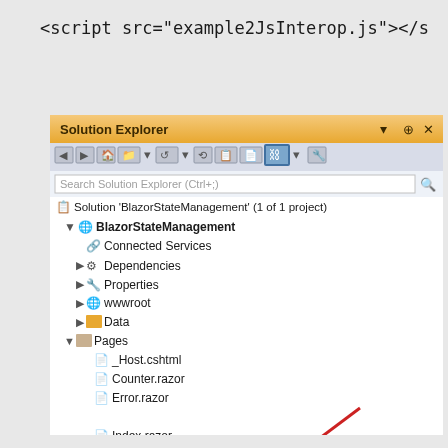<script src="example2JsInterop.js"></s
[Figure (screenshot): Visual Studio Solution Explorer window showing BlazorStateManagement project tree. The Pages folder is expanded showing _Host.cshtml, Counter.razor, Error.razor, FetchData.razor, Index.razor, and JSInterop.razor (selected/highlighted in blue). A red arrow points to JSInterop.razor which also has a red border box around it.]